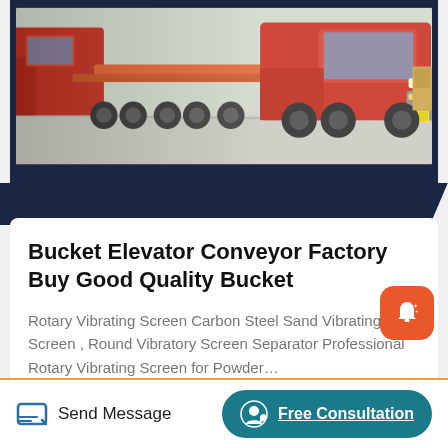[Figure (photo): Red heavy trucks/flatbed trailers parked in a row on a paved surface, viewed from a low angle showing wheels and cabs]
Bucket Elevator Conveyor Factory Buy Good Quality Bucket
Rotary Vibrating Screen Carbon Steel Sand Vibrating Screen , Round Vibratory Screen Separator Professional Rotary Vibrating Screen for Powder…
Read More
Send Message
Free Consultation